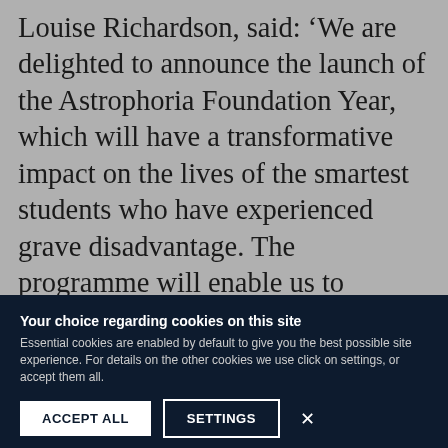Louise Richardson, said: ‘We are delighted to announce the launch of the Astrophoria Foundation Year, which will have a transformative impact on the lives of the smartest students who have experienced grave disadvantage. The programme will enable us to accelerate the progress we have made, as demonstrated in our annual admissions report, in broadening the socio-economic backgrounds of our undergraduate students. I am deeply grateful to the generous donor who shares our belief in the power
Your choice regarding cookies on this site
Essential cookies are enabled by default to give you the best possible site experience. For details on the other cookies we use click on settings, or accept them all.